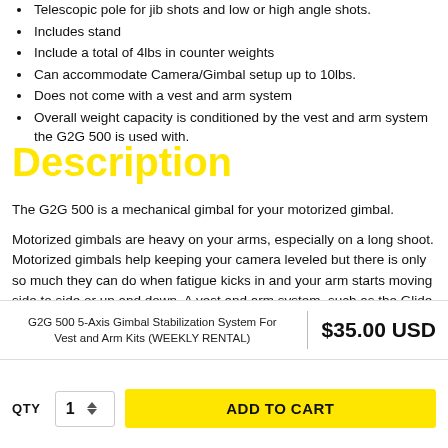Telescopic pole for jib shots and low or high angle shots.
Includes stand
Include a total of 4lbs in counter weights
Can accommodate Camera/Gimbal setup up to 10lbs.
Does not come with a vest and arm system
Overall weight capacity is conditioned by the vest and arm system the G2G 500 is used with.
Description
The G2G 500 is a mechanical gimbal for your motorized gimbal.
Motorized gimbals are heavy on your arms, especially on a long shoot. Motorized gimbals help keeping your camera leveled but there is only so much they can do when fatigue kicks in and your arm starts moving side to side or up and down. A vest and arm system, such as the Glide Gear DNA 6000 or DNA 6002, can solved all these
G2G 500 5-Axis Gimbal Stabilization System For Vest and Arm Kits (WEEKLY RENTAL)
$35.00 USD
QTY 1
ADD TO CART